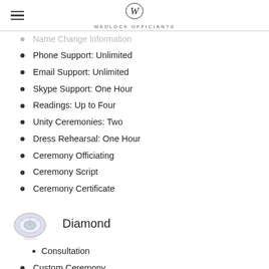WEDLOCK OFFICIANTS
Name Change Information
Phone Support: Unlimited
Email Support: Unlimited
Skype Support: One Hour
Readings: Up to Four
Unity Ceremonies: Two
Dress Rehearsal: One Hour
Ceremony Officiating
Ceremony Script
Ceremony Certificate
Diamond
Consultation
Custom Ceremony
Marriage License Information